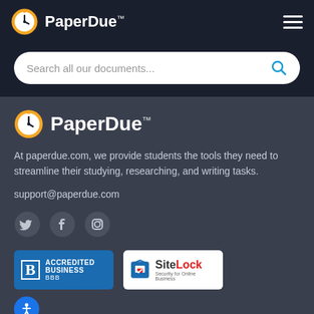PaperDue™
Search all our documents...
[Figure (logo): PaperDue logo with clock icon]
At paperdue.com, we provide students the tools they need to streamline their studying, researching, and writing tasks.
support@paperdue.com
[Figure (illustration): Social media icons: Twitter, Facebook, Instagram]
[Figure (illustration): BBB Accredited Business badge and SiteLock Security badge]